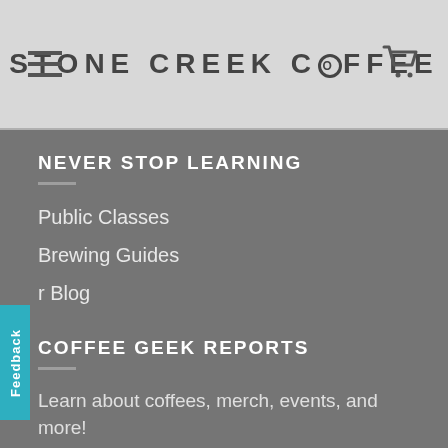STONE CREEK COFFEE
NEVER STOP LEARNING
Public Classes
Brewing Guides
r Blog
COFFEE GEEK REPORTS
Learn about coffees, merch, events, and more!
SIGN UP